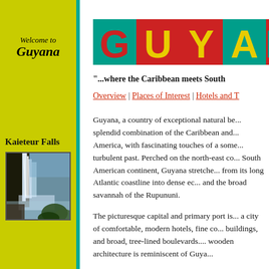Welcome to Guyana
[Figure (logo): GUYANA colorful logo with letters on teal and red background]
"...where the Caribbean meets South
Overview | Places of Interest | Hotels and T
Kaieteur Falls
[Figure (photo): Photo of Kaieteur Falls waterfall with mist and vegetation]
Guyana, a country of exceptional natural be... splendid combination of the Caribbean and... America, with fascinating touches of a some... turbulent past. Perched on the north-east co... South American continent, Guyana stretche... from its long Atlantic coastline into dense ec... and the broad savannah of the Rupununi.
The picturesque capital and primary port is... a city of comfortable, modern hotels, fine co... buildings, and broad, tree-lined boulevards.... wooden architecture is reminiscent of Guya...